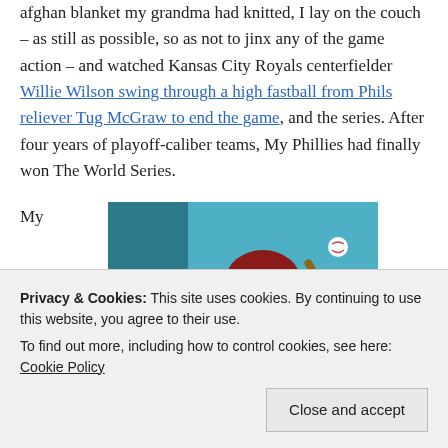afghan blanket my grandma had knitted, I lay on the couch – as still as possible, so as not to jinx any of the game action – and watched Kansas City Royals centerfielder Willie Wilson swing through a high fastball from Phils reliever Tug McGraw to end the game, and the series. After four years of playoff-caliber teams, My Phillies had finally won The World Series.
My
[Figure (photo): A painting or illustration of a Philadelphia Phillies baseball player wearing jersey number 20, mid-swing, with a catcher visible behind them. Teal/blue-green background.]
•
Privacy & Cookies: This site uses cookies. By continuing to use this website, you agree to their use. To find out more, including how to control cookies, see here: Cookie Policy
Close and accept